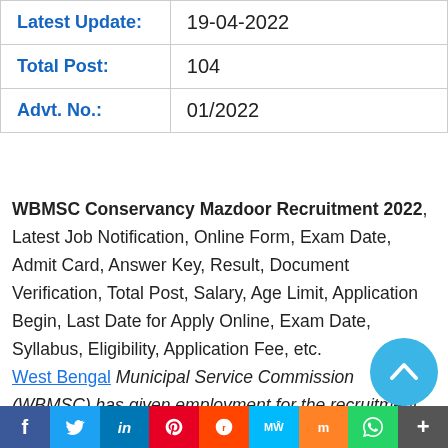| Label | Value |
| --- | --- |
| Latest Update: | 19-04-2022 |
| Total Post: | 104 |
| Advt. No.: | 01/2022 |
WBMSC Conservancy Mazdoor Recruitment 2022, Latest Job Notification, Online Form, Exam Date, Admit Card, Answer Key, Result, Document Verification, Total Post, Salary, Age Limit, Application Begin, Last Date for Apply Online, Exam Date, Syllabus, Eligibility, Application Fee, etc. West Bengal Municipal Service Commission (WBMSC) has given employment for the recruitment of Conservancy Mazdoor Vacancy. Those Candidates